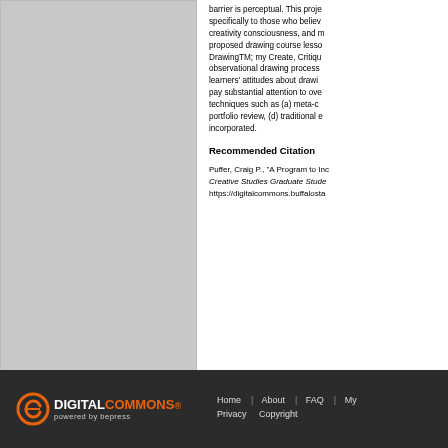[Figure (illustration): Gray placeholder image representing a document or book cover thumbnail]
barrier is perceptual. This project speaks specifically to those who believe creativity consciousness, and my proposed drawing course lesson DrawingTM; my Create, Critique observational drawing process learners' attitudes about drawing pay substantial attention to overview techniques such as (a) meta-c portfolio review, (d) traditional e incorporated.
Recommended Citation
Puffer, Craig P., "A Program to Inc Creative Studies Graduate Stude https://digitalcommons.buffalost
[Figure (logo): Digital Commons powered by bepress logo in white and orange on dark background]
Home | About | FAQ | My Privacy    Copyright